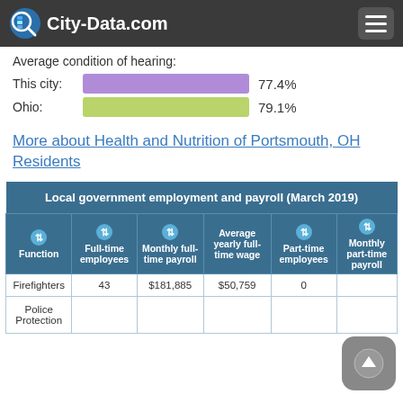City-Data.com
Average condition of hearing:
This city: 77.4%
Ohio: 79.1%
More about Health and Nutrition of Portsmouth, OH Residents
| Function | Full-time employees | Monthly full-time payroll | Average yearly full-time wage | Part-time employees | Monthly part-time payroll |
| --- | --- | --- | --- | --- | --- |
| Firefighters | 43 | $181,885 | $50,759 | 0 |  |
| Police Protection |  |  |  |  |  |